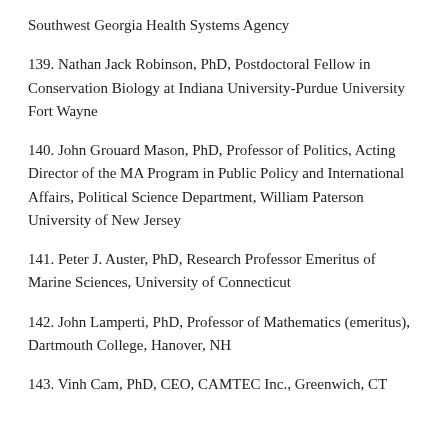Southwest Georgia Health Systems Agency
139. Nathan Jack Robinson, PhD, Postdoctoral Fellow in Conservation Biology at Indiana University-Purdue University Fort Wayne
140. John Grouard Mason, PhD, Professor of Politics, Acting Director of the MA Program in Public Policy and International Affairs, Political Science Department, William Paterson University of New Jersey
141. Peter J. Auster, PhD, Research Professor Emeritus of Marine Sciences, University of Connecticut
142. John Lamperti, PhD, Professor of Mathematics (emeritus), Dartmouth College, Hanover, NH
143. Vinh Cam, PhD, CEO, CAMTEC Inc., Greenwich, CT